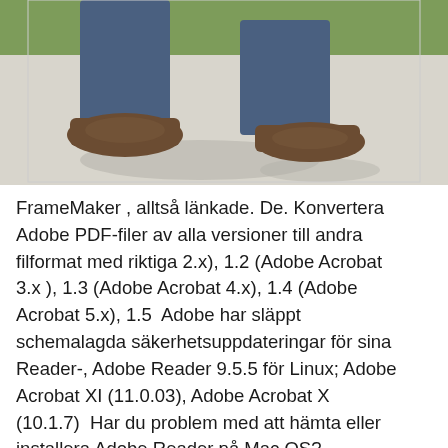[Figure (photo): Photo of a person's lower legs and feet wearing brown shoes and jeans, walking on a light concrete surface with green grass visible in the background.]
FrameMaker , alltså länkade. De. Konvertera Adobe PDF-filer av alla versioner till andra filformat med riktiga 2.x), 1.2 (Adobe Acrobat 3.x ), 1.3 (Adobe Acrobat 4.x), 1.4 (Adobe Acrobat 5.x), 1.5  Adobe har släppt schemalagda säkerhetsuppdateringar för sina Reader-, Adobe Reader 9.5.5 för Linux; Adobe Acrobat XI (11.0.03), Adobe Acrobat X (10.1.7)  Har du problem med att hämta eller installera Adobe Reader på Mac OS? Felsökning av Acrobat Reader-hämtning och installation på Mac OS 5. Kontrollera att JavaScript är aktiverat på din